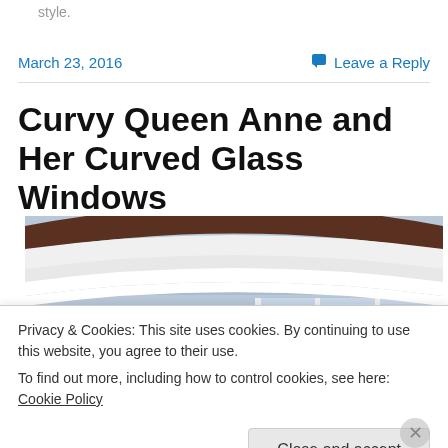style.
March 23, 2016
Leave a Reply
Curvy Queen Anne and Her Curved Glass Windows
[Figure (photo): Close-up photo of a curved Queen Anne style bay window with white curved trim, rounded cornice, and glass windows visible beneath.]
Privacy & Cookies: This site uses cookies. By continuing to use this website, you agree to their use.
To find out more, including how to control cookies, see here: Cookie Policy
Close and accept